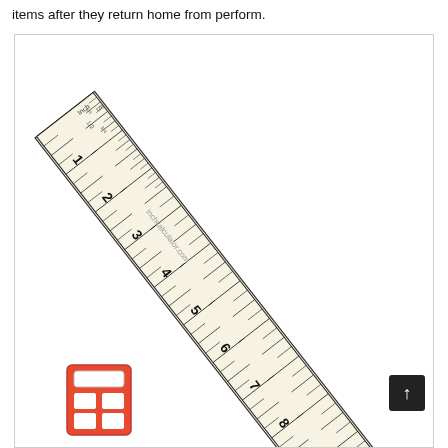items after they return home from perform.
[Figure (illustration): A diagonal ruler (inch ruler from inchcalculator.com) shown at an angle from upper-left to lower-right, displaying inch markings from 1 to 9+, with subdivision tick marks. A red calculator icon appears in the lower-left corner of the framed area. A dark back button appears lower-right.]